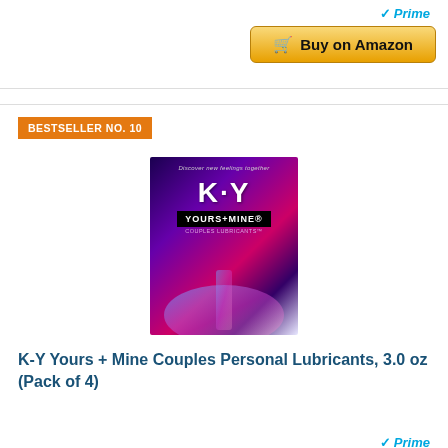[Figure (other): Amazon Prime Buy on Amazon button at top of page]
BESTSELLER NO. 10
[Figure (photo): K-Y Yours + Mine Couples Personal Lubricants product box with blue and pink design]
K-Y Yours + Mine Couples Personal Lubricants, 3.0 oz (Pack of 4)
[Figure (other): Amazon Prime Buy on Amazon button at bottom of page]